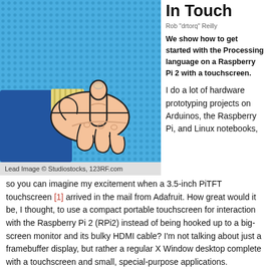In Touch
Rob "drtorq" Reilly
We show how to get started with the Processing language on a Raspberry Pi 2 with a touchscreen.
[Figure (illustration): Comic-style pop art illustration of a hand pointing to the right, against a blue halftone dotted background. The hand wears a blue suit sleeve with a yellow-striped cuff.]
Lead Image © Studiostocks, 123RF.com
I do a lot of hardware prototyping projects on Arduinos, the Raspberry Pi, and Linux notebooks, so you can imagine my excitement when a 3.5-inch PiTFT touchscreen [1] arrived in the mail from Adafruit. How great would it be, I thought, to use a compact portable touchscreen for interaction with the Raspberry Pi 2 (RPi2) instead of being hooked up to a big-screen monitor and its bulky HDMI cable? I'm not talking about just a framebuffer display, but rather a regular X Window desktop complete with a touchscreen and small, special-purpose applications.